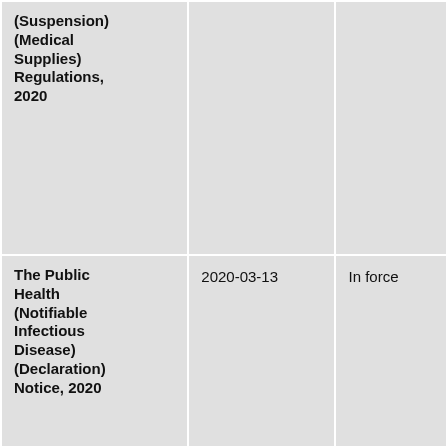| (Suspension) (Medical Supplies) Regulations, 2020 |  |  |
| The Public Health (Notifiable Infectious Disease) (Declaration) Notice, 2020 | 2020-03-13 | In force |
| The Public Health (Infected Areas) (Coronavirus Disease 2019) Regulations, 2020 | 2020-03-13 | In force |